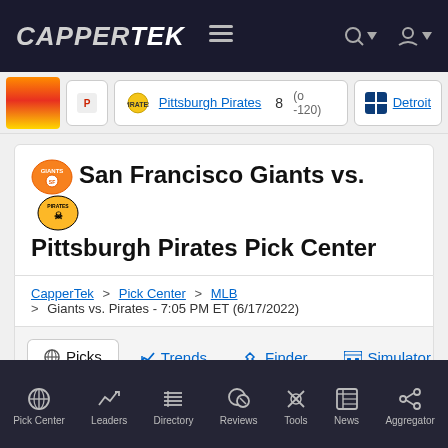CAPPERTEK
Pittsburgh Pirates   8  (o -120)   Detroit
San Francisco Giants vs. Pittsburgh Pirates Pick Center
CapperTek > Pick Center > MLB > Giants vs. Pirates - 7:05 PM ET (6/17/2022)
Picks   Trends   Finder   Simulator   Capsensus   News
ML   SPREAD   TOTAL
Pick Center   Leaders   Directory   Reviews   Tools   News   Aggregator